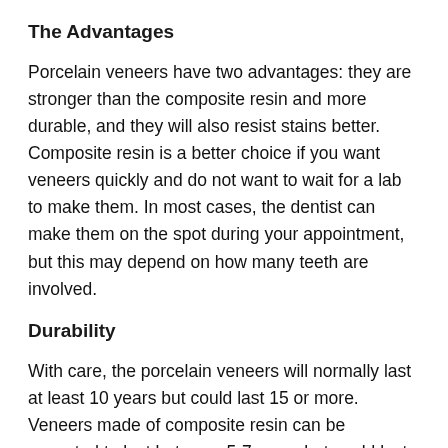The Advantages
Porcelain veneers have two advantages: they are stronger than the composite resin and more durable, and they will also resist stains better. Composite resin is a better choice if you want veneers quickly and do not want to wait for a lab to make them. In most cases, the dentist can make them on the spot during your appointment, but this may depend on how many teeth are involved.
Durability
With care, the porcelain veneers will normally last at least 10 years but could last 15 or more. Veneers made of composite resin can be expected to last between 5-7 years but could last 10. Veneers made of any material need to be taken care of in order to get the maximum life expectancy out of them.
Global Family Dental in Farmingdale, NY has an expert dentist who can treat patients with dental veneers.